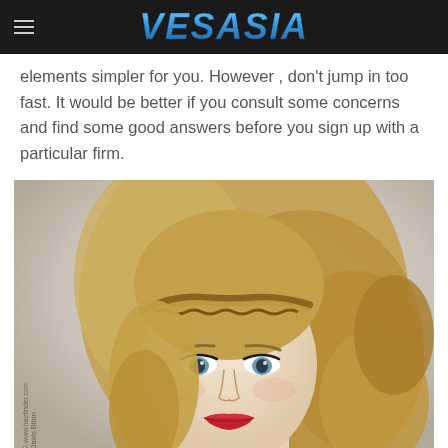VESASIA
elements simpler for you. However , don't jump in too fast. It would be better if you consult some concerns and find some good answers before you sign up with a particular firm.
[Figure (photo): Portrait photo of a blonde woman with braided updo hairstyle and red lipstick, with watermark 'Davis Biton © www.hairfinder.com']